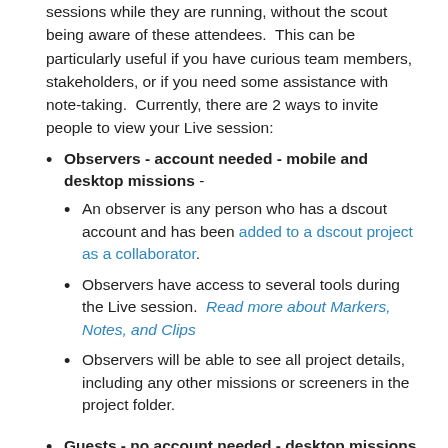sessions while they are running, without the scout being aware of these attendees.  This can be particularly useful if you have curious team members, stakeholders, or if you need some assistance with note-taking.  Currently, there are 2 ways to invite people to view your Live session:
Observers - account needed - mobile and desktop missions -
An observer is any person who has a dscout account and has been added to a dscout project as a collaborator.
Observers have access to several tools during the Live session.  Read more about Markers, Notes, and Clips
Observers will be able to see all project details, including any other missions or screeners in the project folder.
Guests - no account needed - desktop missions only -
Any person who has been invited to a dscout Live desktop session via a shared session link and access code is able to attend an active Live desktop session